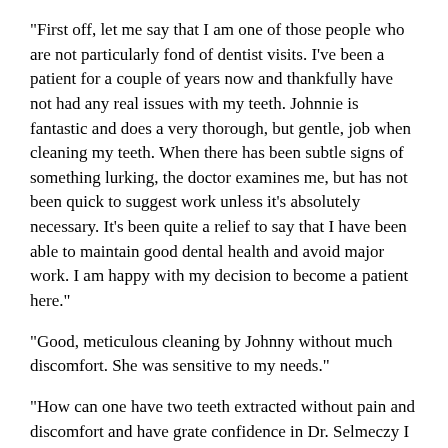"First off, let me say that I am one of those people who are not particularly fond of dentist visits. I've been a patient for a couple of years now and thankfully have not had any real issues with my teeth. Johnnie is fantastic and does a very thorough, but gentle, job when cleaning my teeth. When there has been subtle signs of something lurking, the doctor examines me, but has not been quick to suggest work unless it's absolutely necessary. It's been quite a relief to say that I have been able to maintain good dental health and avoid major work. I am happy with my decision to become a patient here."
"Good, meticulous cleaning by Johnny without much discomfort. She was sensitive to my needs."
"How can one have two teeth extracted without pain and discomfort and have grate confidence in Dr. Selmeczy I did and drove away very pleased."
"Love the staff and specially my dental tech!"
"I got my teeth cleaned with Johnny at Dr. Selmeczy's office and she's always amazing. She does a great job with the cleaning, is gentle on my teeth and very professional. She gives recommendations on how to properly care for your teeth and makes sure to let you know if certain areas